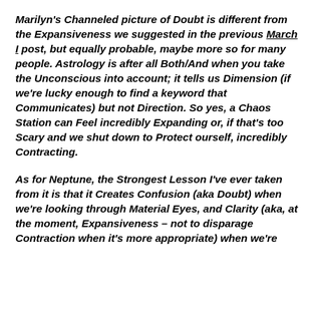Marilyn's Channeled picture of Doubt is different from the Expansiveness we suggested in the previous March I post, but equally probable, maybe more so for many people.  Astrology is after all Both/And when you take the Unconscious into account; it tells us Dimension (if we're lucky enough to find a keyword that Communicates) but not Direction.  So yes, a Chaos Station can Feel incredibly Expanding or, if that's too Scary and we shut down to Protect ourself, incredibly Contracting.
As for Neptune, the Strongest Lesson I've ever taken from it is that it Creates Confusion (aka Doubt) when we're looking through Material Eyes, and Clarity (aka, at the moment, Expansiveness – not to disparage Contraction when it's more appropriate) when we're